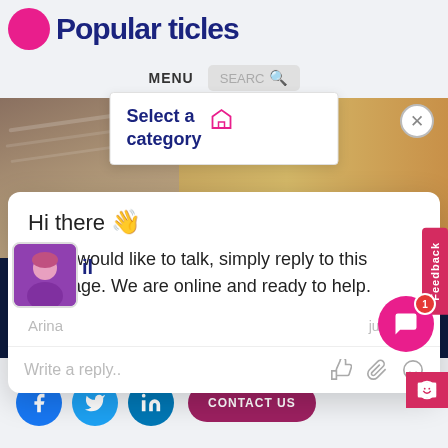Popular Articles
MENU  SEARCH
[Figure (screenshot): Books stacked on wooden surface background image]
Select a category
Hi there 👋
If you would like to talk, simply reply to this message. We are online and ready to help.
Arina   just now
Write a reply..
Nowadays, the IT industry seems to be flourishing as never before, especially in Ukraine. This sphere is devel
Read more
CONTACT US